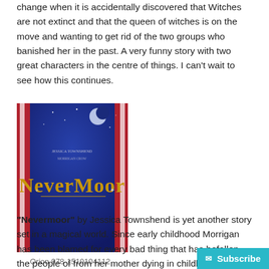change when it is accidentally discovered that Witches are not extinct and that the queen of witches is on the move and wanting to get rid of the two groups who banished her in the past.  A very funny story with two great characters in the centre of things.  I can't wait to see how this continues.
[Figure (photo): Book cover photo of 'Nevermoor' — deep blue cover with gold stylized text reading 'Nevermoor', a crescent moon visible at the top, and striped fabric visible at the edges.]
Orion,978-1510104112
“Nevermoor” by Jessica Townshend is yet another story set in a magical world.  Since early childhood Morrigan has been blamed for every bad thing that has befallen the people of from her mother dying in childbirth to people trinn